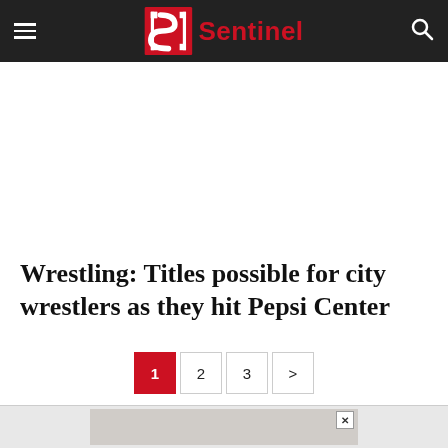Sentinel
Wrestling: Titles possible for city wrestlers as they hit Pepsi Center
1 2 3 >